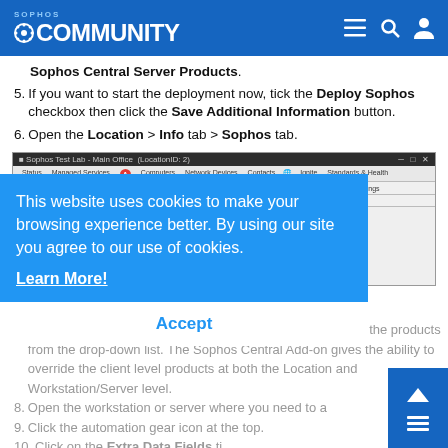SOPHOS COMMUNITY
Sophos Central Server Products.
5. If you want to start the deployment now, tick the Deploy Sophos checkbox then click the Save Additional Information button.
6. Open the Location > Info tab > Sophos tab.
[Figure (screenshot): Sophos Test Lab - Main Office (LocationID: 2) application window showing tabs: Status, Managed Services, Computers, Network Devices, Contacts, Ignite, Standards & Health, General, Info (active), Deployment & Defaults, Passwords, Remote Backup, Vsio #1, Vsio #2, Snmp Settings, Additional Information. Badge A is visible on the Info tab.]
This website uses cookies to make your browsing experience better. By using our site you agree to our use of cookies.
Learn More!
Accept
7. Tick the checkbox of what you need to override then select the products from the drop-down list. The Sophos Central Add-on gives the ability to override the client level products at both the Location and Workstation/Server level.
8. Open the workstation or server where you need to a...
9. Click the automation gear icon at the top.
10. Click on the Extra Data Fields ti...